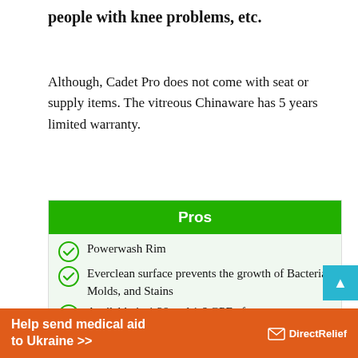people with knee problems, etc.
Although, Cadet Pro does not come with seat or supply items. The vitreous Chinaware has 5 years limited warranty.
Pros
Powerwash Rim
Everclean surface prevents the growth of Bacteria, Molds, and Stains
Available in 1.28 and 1.6 GPF of water
Available in Round and elongated bowl
5 years warranty
9-in x 8-in water surface area
Help send medical aid to Ukraine >>  DirectRelief